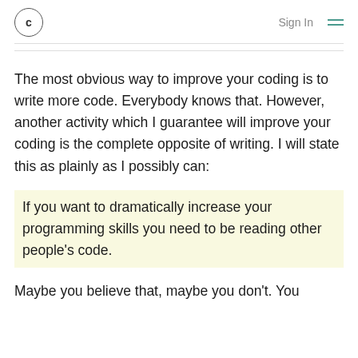c  Sign In
The most obvious way to improve your coding is to write more code. Everybody knows that. However, another activity which I guarantee will improve your coding is the complete opposite of writing. I will state this as plainly as I possibly can:
If you want to dramatically increase your programming skills you need to be reading other people's code.
Maybe you believe that, maybe you don't. You